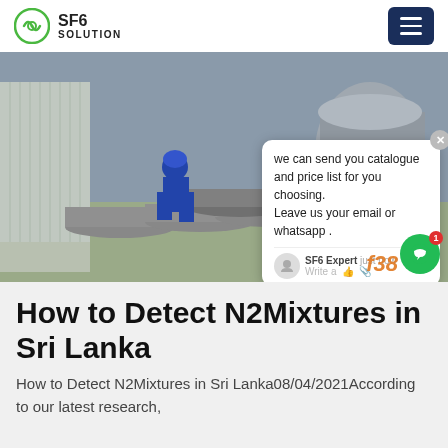SF6 SOLUTION
[Figure (photo): Two workers in blue protective suits and hard hats handling large grey gas cylinders on a concrete yard, with industrial equipment in the background. A chat popup overlay appears on the right side of the image showing a message: 'we can send you catalogue and price list for you choosing. Leave us your email or whatsapp .' with SF6 Expert label and 'just now' timestamp.]
How to Detect N2Mixtures in Sri Lanka
How to Detect N2Mixtures in Sri Lanka08/04/2021According to our latest research,